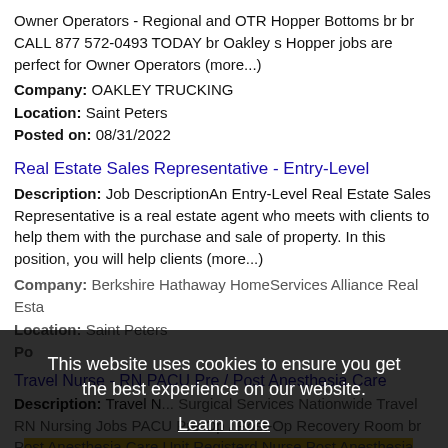Owner Operators - Regional and OTR Hopper Bottoms br br CALL 877 572-0493 TODAY br Oakley s Hopper jobs are perfect for Owner Operators (more...)
Company: OAKLEY TRUCKING
Location: Saint Peters
Posted on: 08/31/2022
Real Estate Sales Representative - Entry-Level
Description: Job DescriptionAn Entry-Level Real Estate Sales Representative is a real estate agent who meets with clients to help them with the purchase and sale of property. In this position, you will help clients (more...)
Company: Berkshire Hathaway HomeServices Alliance Real Esta
Location: Saint Peters
Posted on: (partially obscured)
Travel Nurse - RN PACU Pre / Post Anesthesia Care
Description: Travel N... Surgical Services Nationwide Travel RN Nursing Jobs PACU Pre-Op / Post-Op Recovery Room br Post Anesthesia Care Unit Registerd Nurse Post Anesthesia Care br br HCEN has numerous (more...)
Company: HealthCare Employment Network, LLC.
Location: Saint Peters
Posted on: 08/31/2022
This website uses cookies to ensure you get the best experience on our website. Learn more Got it!